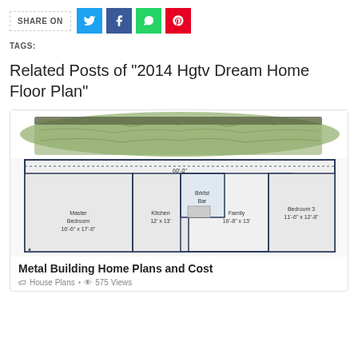SHARE ON
Related Posts of "2014 Hgtv Dream Home Floor Plan"
TAGS:
[Figure (illustration): House floor plan showing Master Bedroom 16'-6" x 17'-6", Kitchen 12' x 13', Breakfast Bar, Family 16'-8" x 13', Bedroom 3 11'-6" x 12'-8', with landscaping above]
Metal Building Home Plans and Cost
House Plans • 575 Views